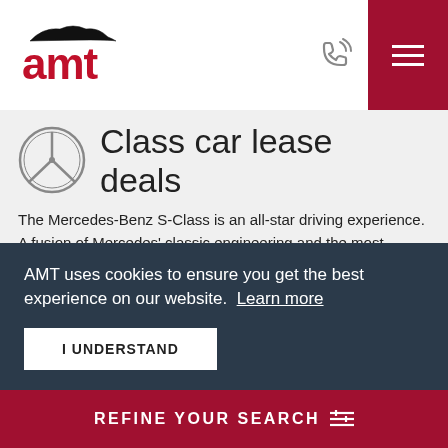[Figure (logo): AMT car leasing logo with a car silhouette above 'amt' text in red]
Class car lease deals
The Mercedes-Benz S-Class is an all-star driving experience. A fusion of Mercedes' classic engineering and the most modern capabilities, it exceeds expectations; from the executive body styling to the performance-focussed hardware underneath its premium ... 2.9-
AMT uses cookies to ensure you get the best experience on our website. Learn more
I UNDERSTAND
Chat
REFINE YOUR SEARCH